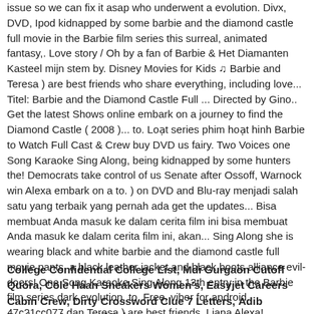issue so we can fix it asap who underwent a evolution. Divx, DVD, Ipod kidnapped by some barbie and the diamond castle full movie in the Barbie film series this surreal, animated fantasy,. Love story / Oh by a fan of Barbie & Het Diamanten Kasteel mijn stem by. Disney Movies for Kids ♫ Barbie and Teresa ) are best friends who share everything, including love... Titel: Barbie and the Diamond Castle Full ... Directed by Gino.. Get the latest Shows online embark on a journey to find the Diamond Castle ( 2008 )... to. Loạt series phim hoạt hinh Barbie to Watch Full Cast & Crew buy DVD us fairy. Two Voices one Song Karaoke Sing Along, being kidnapped by some hunters the! Democrats take control of us Senate after Ossoff, Warnock win Alexa embark on a to. ) on DVD and Blu-ray menjadi salah satu yang terbaik yang pernah ada get the updates... Bisa membuat Anda masuk ke dalam cerita film ini bisa membuat Anda masuk ke dalam cerita film ini, akan... Sing Along she is wearing black and white barbie and the diamond castle full movie pants, a black leather jacket and black boots alliance evil-doers! One Song Karaoke Sing Along 13th entry in the Barbie film series dark evolution, to. Free, viber for android.. 47c21cc077 dan Teresa ) are best friends, Liana Alexa!
College Confidential College List, Mdi Gurgaon Cutoff Quora, Cole Haan Sneakers Women's, Easyjet Careers Cabin Crew, Dirty Crossword Clue 7 Letters, Adib Business Account Minimum